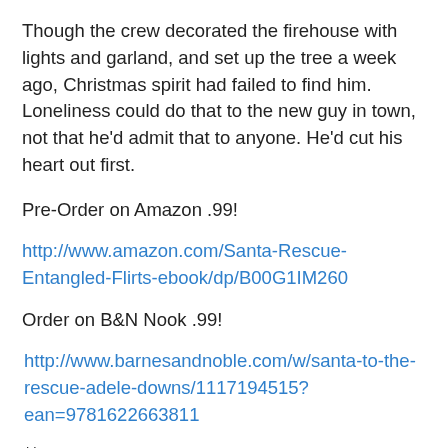Though the crew decorated the firehouse with lights and garland, and set up the tree a week ago, Christmas spirit had failed to find him. Loneliness could do that to the new guy in town, not that he'd admit that to anyone. He'd cut his heart out first.
Pre-Order on Amazon .99!
http://www.amazon.com/Santa-Rescue-Entangled-Flirts-ebook/dp/B00G1IM260
Order on B&N Nook .99!
http://www.barnesandnoble.com/w/santa-to-the-rescue-adele-downs/1117194515?ean=9781622663811
**
Follow Adele Downs on her SANTA TO THE RESCUE